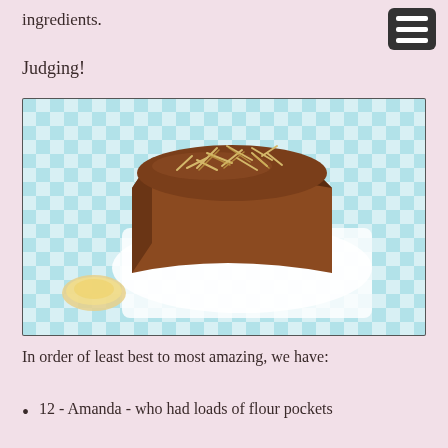ingredients.
Judging!
[Figure (photo): A rectangular dark brown loaf cake topped with flaked almonds, sitting on white paper on a blue and white gingham tablecloth, with a small dish of honey visible in the bottom left corner.]
In order of least best to most amazing, we have:
12 - Amanda - who had loads of flour pockets